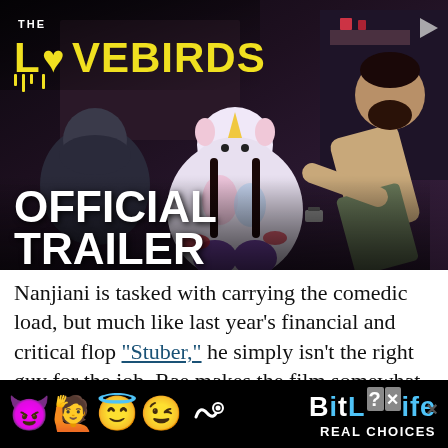[Figure (screenshot): The Lovebirds movie official trailer thumbnail showing actors in a scene. Bold yellow title 'THE LOVEBIRDS' at top left with heart replacing 'O'. Large white text 'OFFICIAL TRAILER' at bottom left overlay.]
Nanjiani is tasked with carrying the comedic load, but much like last year's financial and critical flop “Stuber,” he simply isn't the right guy for the job. Rae makes the film somewhat tolerable but she also suffers from not having the ability to
[Figure (screenshot): BitLife advertisement banner with emoji characters (devil, woman, angel, winking face) and BitLife logo with 'REAL CHOICES' text on black background]